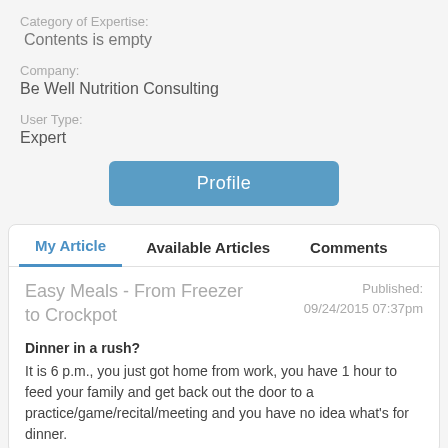Category of Expertise:
Contents is empty
Company:
Be Well Nutrition Consulting
User Type:
Expert
[Figure (screenshot): Blue button labeled 'Profile']
My Article | Available Articles | Comments (tab navigation)
Easy Meals - From Freezer to Crockpot
Published: 09/24/2015 07:37pm
Dinner in a rush? It is 6 p.m., you just got home from work, you have 1 hour to feed your family and get back out the door to a practice/game/recital/meeting and you have no idea what's for dinner.